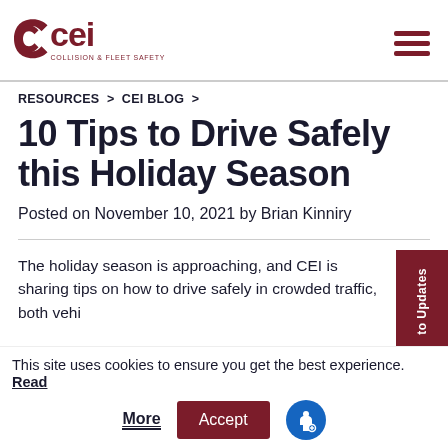[Figure (logo): CEI Collision & Fleet Safety logo in dark red with stylized C shapes]
RESOURCES > CEI BLOG >
10 Tips to Drive Safely this Holiday Season
Posted on November 10, 2021 by Brian Kinniry
The holiday season is approaching, and CEI is sharing tips on how to drive safely in crowded traffic, both vehi
This site uses cookies to ensure you get the best experience. Read More
Accept